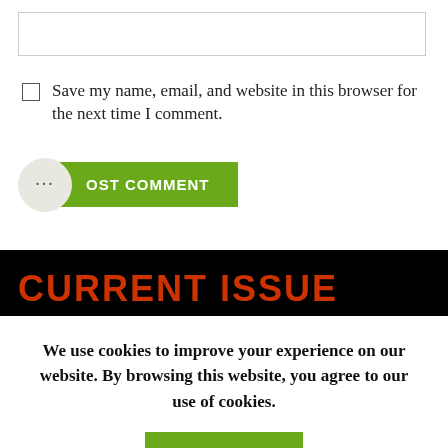[text input box]
Save my name, email, and website in this browser for the next time I comment.
... POST COMMENT
CURRENT ISSUE
We use cookies to improve your experience on our website. By browsing this website, you agree to our use of cookies.
ACCEPT